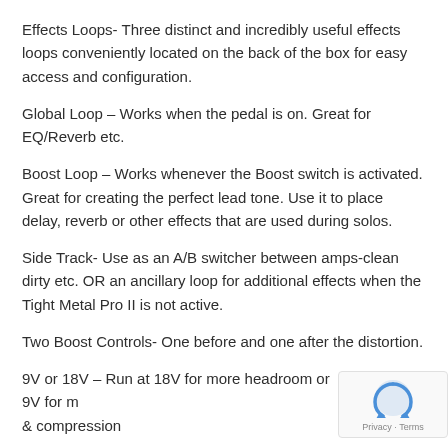Effects Loops- Three distinct and incredibly useful effects loops conveniently located on the back of the box for easy access and configuration.
Global Loop – Works when the pedal is on. Great for EQ/Reverb etc.
Boost Loop – Works whenever the Boost switch is activated. Great for creating the perfect lead tone. Use it to place delay, reverb or other effects that are used during solos.
Side Track- Use as an A/B switcher between amps-clean dirty etc. OR an ancillary loop for additional effects when the Tight Metal Pro II is not active.
Two Boost Controls- One before and one after the distortion.
9V or 18V – Run at 18V for more headroom or 9V for m & compression